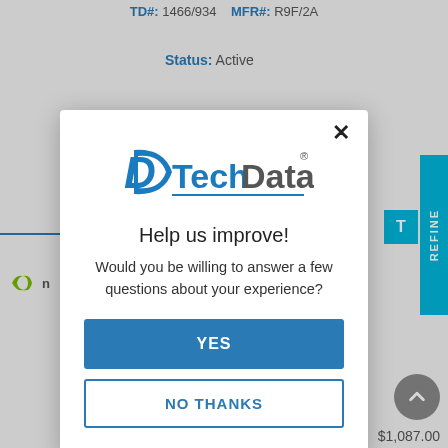TD#: 1466/934   MFR#: R9F/2A
Status: Active
[Figure (screenshot): Tech Data website modal dialog asking 'Help us improve! Would you be willing to answer a few questions about your experience?' with YES and NO THANKS buttons]
Status: Active
MSRP:   $1,087.00